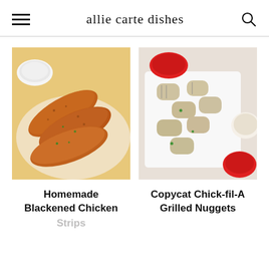allie carte dishes
[Figure (photo): Homemade blackened chicken strips on a white plate with a white dipping sauce, seasoned with spices and garnished with green herbs]
[Figure (photo): Copycat Chick-fil-A grilled nuggets on a white rectangular tray with ketchup and a creamy dipping sauce, garnished with herbs]
Homemade Blackened Chicken Strips
Copycat Chick-fil-A Grilled Nuggets
Strips